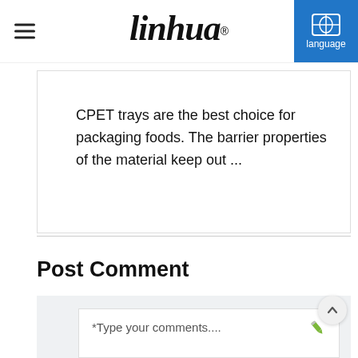linhua® language
CPET trays are the best choice for packaging foods. The barrier properties of the material keep out ...
Post Comment
*Type your comments....